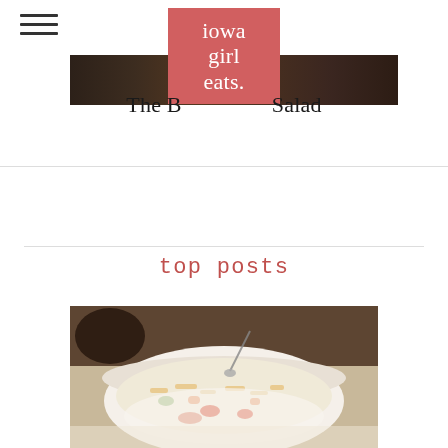[Figure (logo): Iowa Girl Eats logo — salmon/coral red square with white serif text reading 'iowa girl eats.']
[Figure (photo): Dark wood/food background photo strip behind the logo]
The B___ Salad
top posts
[Figure (photo): Food photograph showing a bowl of creamy salad with pasta and vegetables, blurred background with dark bowl]